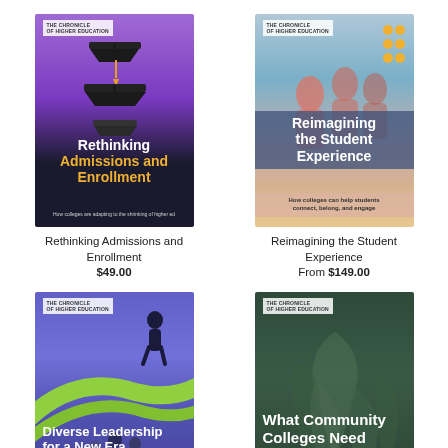[Figure (illustration): Book cover: Rethinking Admissions and Enrollment - purple background with graduation caps, The Chronicle of Higher Education]
Rethinking Admissions and Enrollment
$49.00
[Figure (illustration): Book cover: Reimagining the Student Experience - students in corridor background, The Chronicle of Higher Education]
Reimagining the Student Experience
From $149.00
[Figure (illustration): Book cover: Diverse Leadership for a New Era - blue/purple abstract figures background, The Chronicle of Higher Education]
[Figure (illustration): Book cover: What Community Colleges Need to Thrive - dark green with leaf/tree motif, The Chronicle of Higher Education]